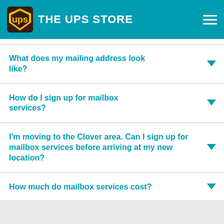THE UPS STORE
What does my mailing address look like?
How do I sign up for mailbox services?
I'm moving to the Clover area. Can I sign up for mailbox services before arriving at my new location?
How much do mailbox services cost?